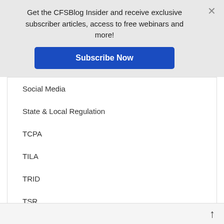Get the CFSBlog Insider and receive exclusive subscriber articles, access to free webinars and more!
Subscribe Now
Social Media
State & Local Regulation
TCPA
TILA
TRID
TSR
UDAP/UDAAP
Uncategorized